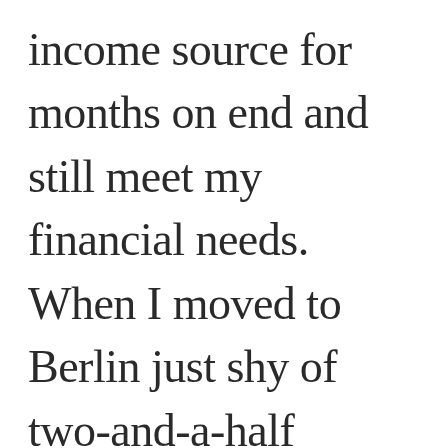income source for months on end and still meet my financial needs. When I moved to Berlin just shy of two-and-a-half